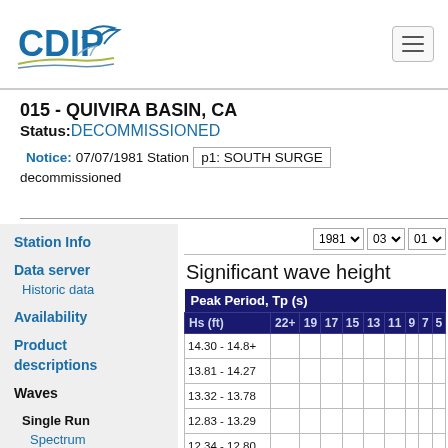CDIP
015 - QUIVIRA BASIN, CA
Status: DECOMMISSIONED
Notice:07/07/1981 Station p1: SOUTH SURGE decommissioned
Station Info
Data server
Historic data
Availability
Product descriptions
Waves
Single Run
Spectrum
Monthly
Significant wave height
| Hs (ft) | 22+ | 19 | 17 | 15 | 13 | 11 | 9 | 7 | 5 |
| --- | --- | --- | --- | --- | --- | --- | --- | --- | --- |
| 14.30 - 14.8+ |  |  |  |  |  |  |  |  |  |
| 13.81 - 14.27 |  |  |  |  |  |  |  |  |  |
| 13.32 - 13.78 |  |  |  |  |  |  |  |  |  |
| 12.83 - 13.29 |  |  |  |  |  |  |  |  |  |
| 12.34 - 12.80 |  |  |  |  |  |  |  |  |  |
| 11.84 - 12.30 |  |  |  |  |  |  |  |  |  |
| 11.35 - 11.81 |  |  |  |  |  |  |  |  |  |
| 10.86 - 11.32 |  |  |  |  |  |  |  |  |  |